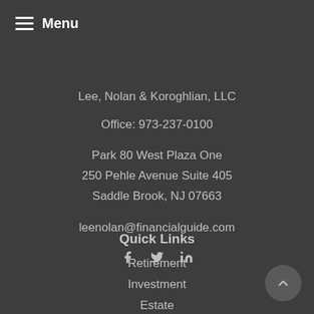Menu
Lee, Nolan & Koroghlian, LLC
Office:  973-237-0100
Park 80 West Plaza One
250 Pehle Avenue Suite 405
Saddle Brook, NJ 07663
leenolan@financialguide.com
[Figure (infographic): Social media icons: Facebook (f), Twitter (bird), LinkedIn (in)]
Quick Links
Retirement
Investment
Estate
Insurance